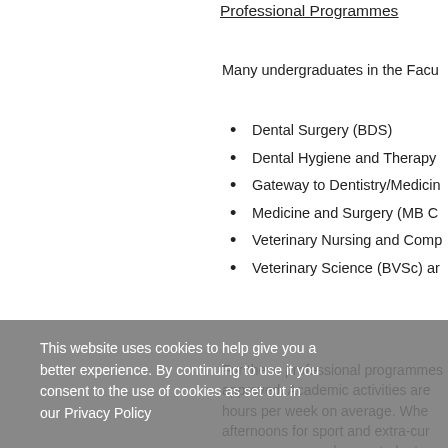Professional Programmes
Many undergraduates in the Facu
Dental Surgery (BDS)
Dental Hygiene and Therapy
Gateway to Dentistry/Medicine
Medicine and Surgery (MB C
Veterinary Nursing and Comp
Veterinary Science (BVSc) ar
For these professional programmes approved. Academic activities are hours per week on average. When afternoons for sport and extra-curricular programmes as when a student p and professional activities. Students 08.00 – 18.00 or even overnight te activities means that students on
This website uses cookies to help give you a better experience. By continuing to use it you consent to the use of cookies as set out in our Privacy Policy